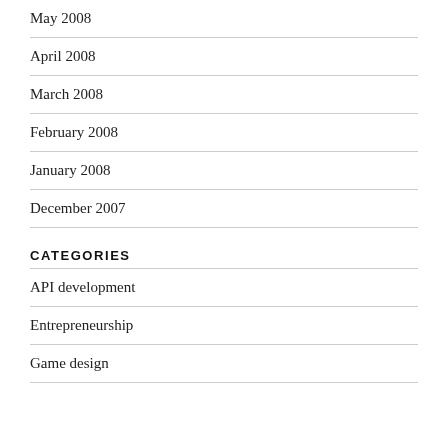May 2008
April 2008
March 2008
February 2008
January 2008
December 2007
CATEGORIES
API development
Entrepreneurship
Game design